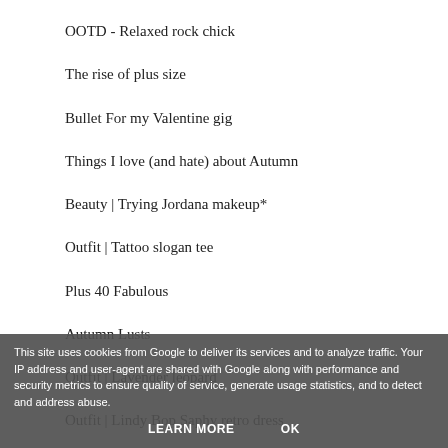OOTD - Relaxed rock chick
The rise of plus size
Bullet For my Valentine gig
Things I love (and hate) about Autumn
Beauty | Trying Jordana makeup*
Outfit | Tattoo slogan tee
Plus 40 Fabulous
Autumn Lusts
Outfit | Lavender leopard
Outfit | Lindy Bop Saphy retro dress
Out & About | UKPSFW
Opinion | Why I'm tired of making plus size fashio...
20 positive affirmations for shitty days
This site uses cookies from Google to deliver its services and to analyze traffic. Your IP address and user-agent are shared with Google along with performance and security metrics to ensure quality of service, generate usage statistics, and to detect and address abuse.
LEARN MORE    OK